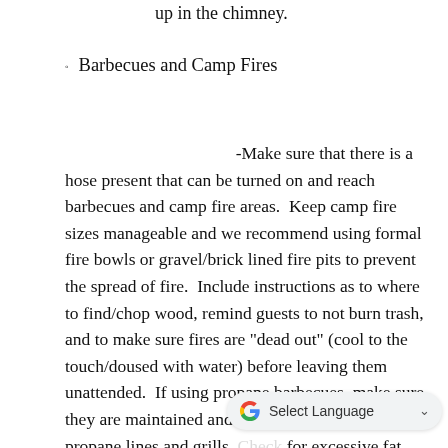up in the chimney.
Barbecues and Camp Fires
-Make sure that there is a hose present that can be turned on and reach barbecues and camp fire areas. Keep camp fire sizes manageable and we recommend using formal fire bowls or gravel/brick lined fire pits to prevent the spread of fire. Include instructions as to where to find/chop wood, remind guests to not burn trash, and to make sure fires are "dead out" (cool to the touch/doused with water) before leaving them unattended. If using propane barbecues, make sure they are maintained and that there is no damage to propane lines and grills. Check for excessive fat build up that can cause f...